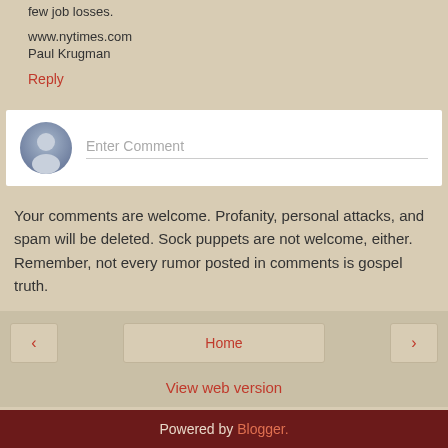few job losses.
www.nytimes.com
Paul Krugman
Reply
[Figure (other): Comment input box with avatar icon and placeholder text 'Enter Comment']
Your comments are welcome. Profanity, personal attacks, and spam will be deleted. Sock puppets are not welcome, either. Remember, not every rumor posted in comments is gospel truth.
Home | View web version | Powered by Blogger.